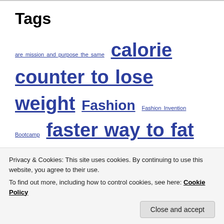Tags
are mission and purpose the same  calorie counter to lose weight  Fashion  Fashion Invention Bootcamp  faster way to fat loss  Featured  get fit  go to gym  Health and Fitness Fun  how can i discover my talent  how can i discover my talent or gift  how can i start my  my talent  how to discover my talent and passion  how to discover your gifts and talents
Privacy & Cookies: This site uses cookies. By continuing to use this website, you agree to their use. To find out more, including how to control cookies, see here: Cookie Policy
Close and accept